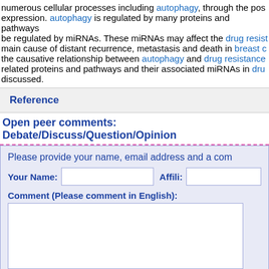numerous cellular processes including autophagy, through the post-expression. autophagy is regulated by many proteins and pathways be regulated by miRNAs. These miRNAs may affect the drug resist main cause of distant recurrence, metastasis and death in breast c the causative relationship between autophagy and drug resistance related proteins and pathways and their associated miRNAs in drug discussed.
Reference
Open peer comments: Debate/Discuss/Question/Opinion
Please provide your name, email address and a com
Your Name: [input] Affili: [input]
Comment (Please comment in English): [textarea]